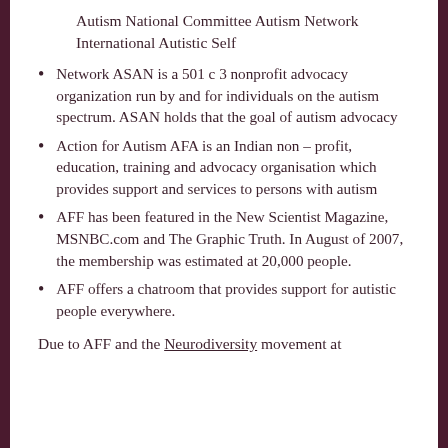Autism National Committee Autism Network International Autistic Self
Network ASAN is a 501 c 3 nonprofit advocacy organization run by and for individuals on the autism spectrum. ASAN holds that the goal of autism advocacy
Action for Autism AFA is an Indian non – profit, education, training and advocacy organisation which provides support and services to persons with autism
AFF has been featured in the New Scientist Magazine, MSNBC.com and The Graphic Truth. In August of 2007, the membership was estimated at 20,000 people.
AFF offers a chatroom that provides support for autistic people everywhere.
Due to AFF and the Neurodiversity movement at